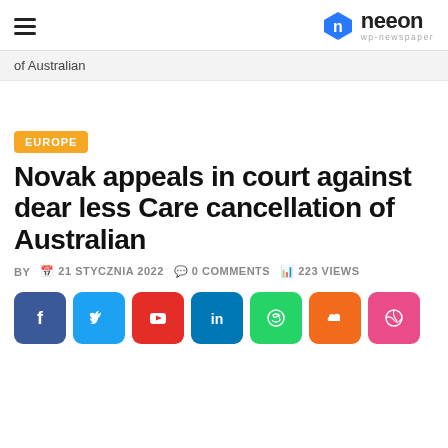neeon wp-newspaper
of Australian
EUROPE
Novak appeals in court against dear less Care cancellation of Australian
BY   21 STYCZNIA 2022   0 COMMENTS   223 VIEWS
[Figure (other): Social sharing buttons: Facebook, Twitter, YouTube, LinkedIn, WhatsApp, SoundCloud, Dribbble]